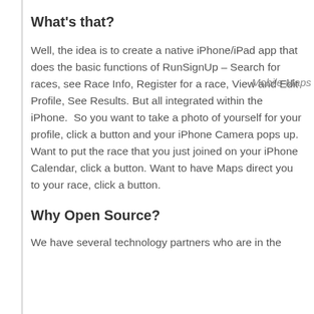What's that?
Well, the idea is to create a native iPhone/iPad app that does the basic functions of RunSignUp – Search for races, see Race Info, Register for a race, View and Edit Profile, See Results. But all integrated within the iPhone.  So you want to take a photo of yourself for your profile, click a button and your iPhone Camera pops up. Want to put the race that you just joined on your iPhone Calendar, click a button. Want to have Maps direct you to your race, click a button.
Mobile Maps
Why Open Source?
We have several technology partners who are in the